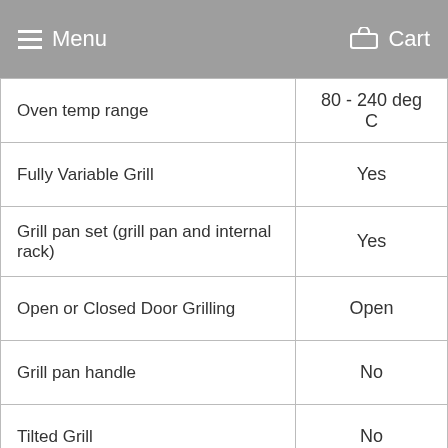Menu    Cart
| Feature | Value |
| --- | --- |
| Oven temp range | 80 - 240 deg C |
| Fully Variable Grill | Yes |
| Grill pan set (grill pan and internal rack) | Yes |
| Open or Closed Door Grilling | Open |
| Grill pan handle | No |
| Tilted Grill | No |
| Door Type | Metal & glass |
|  |  |